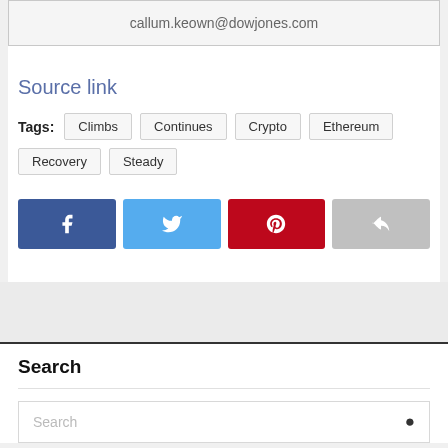callum.keown@dowjones.com
Source link
Tags: Climbs  Continues  Crypto  Ethereum  Recovery  Steady
[Figure (other): Social sharing buttons: Facebook, Twitter, Pinterest, and a generic share button]
Search
Search